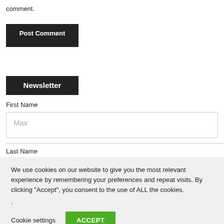comment.
Post Comment
Newsletter
First Name
Max
Last Name
We use cookies on our website to give you the most relevant experience by remembering your preferences and repeat visits. By clicking “Accept”, you consent to the use of ALL the cookies.
.
Cookie settings
ACCEPT